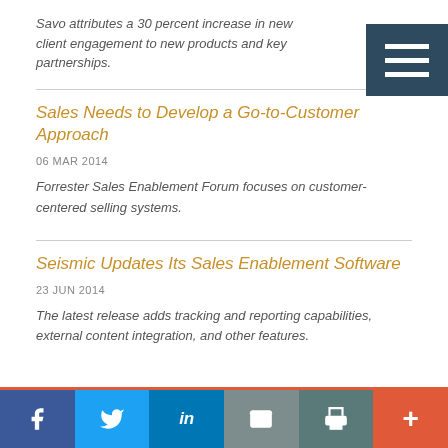Savo attributes a 30 percent increase in new client engagement to new products and key partnerships.
Sales Needs to Develop a Go-to-Customer Approach
06 MAR 2014
Forrester Sales Enablement Forum focuses on customer-centered selling systems.
Seismic Updates Its Sales Enablement Software
23 JUN 2014
The latest release adds tracking and reporting capabilities, external content integration, and other features.